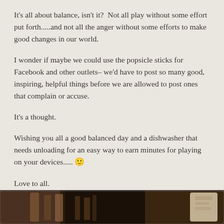It's all about balance, isn't it?  Not all play without some effort put forth.....and not all the anger without some efforts to make good changes in our world.
I wonder if maybe we could use the popsicle sticks for Facebook and other outlets– we'd have to post so many good, inspiring, helpful things before we are allowed to post ones that complain or accuse.
It's a thought.
Wishing you all a good balanced day and a dishwasher that needs unloading for an easy way to earn minutes for playing on your devices..... 🙂
Love to all.
[Figure (photo): A photograph at the bottom of the page showing what appears to be wooden items or popsicle sticks in a dimly lit setting, with a lighter area on the right side.]